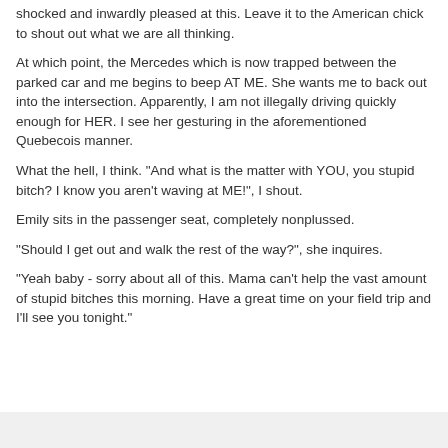shocked and inwardly pleased at this. Leave it to the American chick to shout out what we are all thinking.
At which point, the Mercedes which is now trapped between the parked car and me begins to beep AT ME. She wants me to back out into the intersection. Apparently, I am not illegally driving quickly enough for HER. I see her gesturing in the aforementioned Quebecois manner.
What the hell, I think. "And what is the matter with YOU, you stupid bitch? I know you aren't waving at ME!", I shout.
Emily sits in the passenger seat, completely nonplussed.
"Should I get out and walk the rest of the way?", she inquires.
"Yeah baby - sorry about all of this. Mama can't help the vast amount of stupid bitches this morning. Have a great time on your field trip and I'll see you tonight."